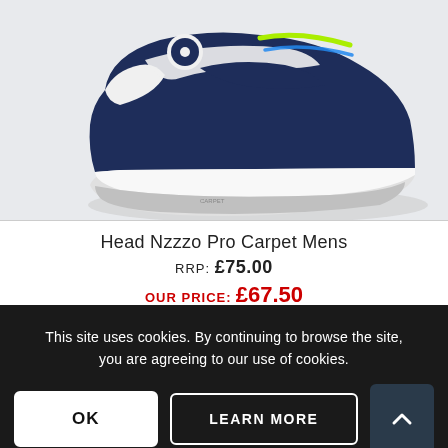[Figure (photo): Navy blue and white Head Nzzzo Pro Carpet tennis shoe with yellow-green laces, photographed against a light grey background, viewed from the side/front angle.]
Head Nzzzo Pro Carpet Mens
RRP: £75.00
OUR PRICE: £67.50
This site uses cookies. By continuing to browse the site, you are agreeing to our use of cookies.
OK
LEARN MORE